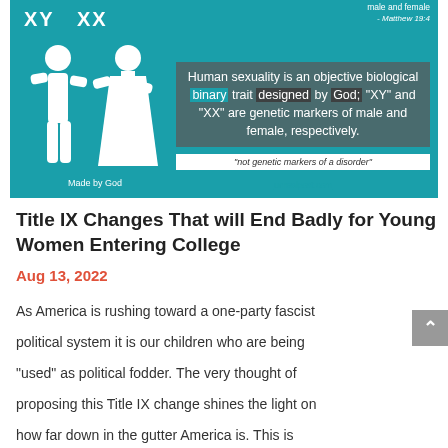[Figure (infographic): Teal infographic with male and female human figures labeled XY and XX, quote about human sexuality being an objective biological binary trait designed by God, sub-quote 'not genetic markers of a disorder', Matthew 19:4 reference, Made by God caption, unrealpost.com source]
Title IX Changes That will End Badly for Young Women Entering College
Aug 13, 2022
As America is rushing toward a one-party fascist political system it is our children who are being "used" as political fodder. The very thought of proposing this Title IX change shines the light on how far down in the gutter America is. This is